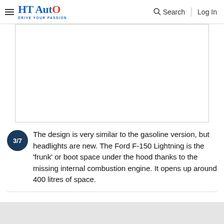HT Auto - Drive Your Passion | Search | Log In
[Figure (photo): Blank white image placeholder area with thin border]
3/7  The design is very similar to the gasoline version, but headlights are new. The Ford F-150 Lightning is the 'frunk' or boot space under the hood thanks to the missing internal combustion engine. It opens up around 400 litres of space.